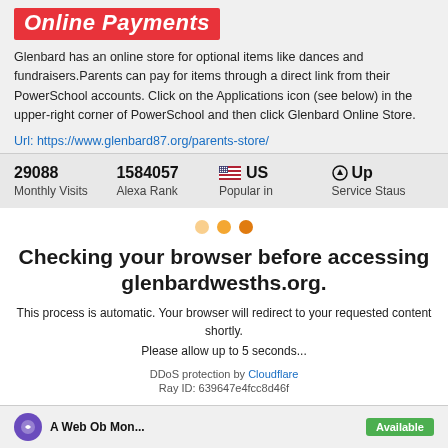Online Payments
Glenbard has an online store for optional items like dances and fundraisers.Parents can pay for items through a direct link from their PowerSchool accounts. Click on the Applications icon (see below) in the upper-right corner of PowerSchool and then click Glenbard Online Store.
Url: https://www.glenbard87.org/parents-store/
| Stat | Value |
| --- | --- |
| 29088 | Monthly Visits |
| 1584057 | Alexa Rank |
| US | Popular in |
| Up | Service Staus |
[Figure (screenshot): Cloudflare browser check screen with three orange loading dots, title 'Checking your browser before accessing glenbardwesths.org.', instructions, DDoS protection notice, and Ray ID.]
Checking your browser before accessing glenbardwesths.org.
This process is automatic. Your browser will redirect to your requested content shortly.
Please allow up to 5 seconds...
DDoS protection by Cloudflare
Ray ID: 639647e4fcc8d46f